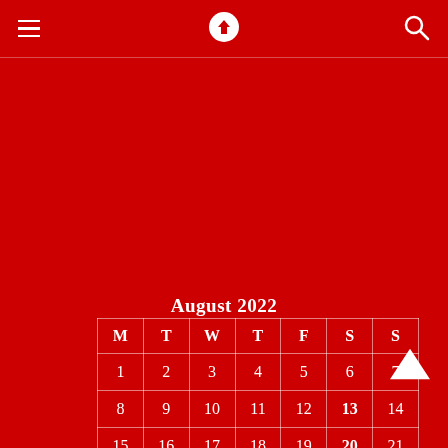Navigation bar with hamburger menu, download icon, and search icon
August 2022
| M | T | W | T | F | S | S |
| --- | --- | --- | --- | --- | --- | --- |
| 1 | 2 | 3 | 4 | 5 | 6 | 7 |
| 8 | 9 | 10 | 11 | 12 | 13 | 14 |
| 15 | 16 | 17 | 18 | 19 | 20 | 21 |